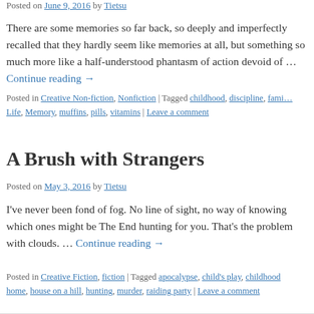Posted on June 9, 2016 by Tietsu
There are some memories so far back, so deeply and imperfectly recalled that they hardly seem like memories at all, but something so much more like a half-understood phantasm of action devoid of … Continue reading →
Posted in Creative Non-fiction, Nonfiction | Tagged childhood, discipline, family, Life, Memory, muffins, pills, vitamins | Leave a comment
A Brush with Strangers
Posted on May 3, 2016 by Tietsu
I've never been fond of fog. No line of sight, no way of knowing which ones might be The End hunting for you. That's the problem with clouds. … Continue reading →
Posted in Creative Fiction, fiction | Tagged apocalypse, child's play, childhood, home, house on a hill, hunting, murder, raiding party | Leave a comment